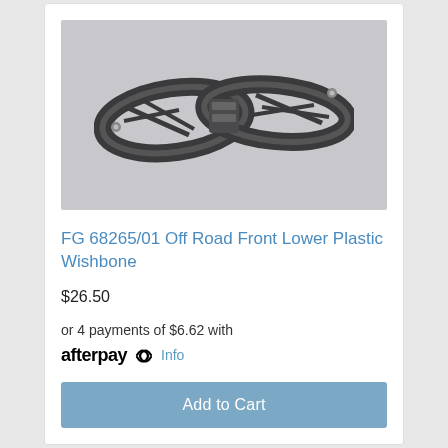[Figure (photo): Product photo of FG 68265/01 Off Road Front Lower Plastic Wishbone — a dark grey/black double wishbone suspension arm component for RC cars, shown on a light grey background.]
FG 68265/01 Off Road Front Lower Plastic Wishbone
$26.50
or 4 payments of $6.62 with afterpay Info